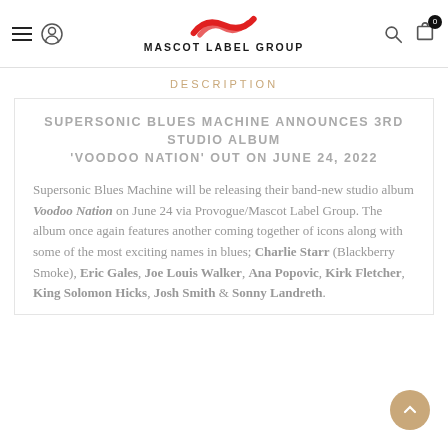Mascot Label Group
DESCRIPTION
SUPERSONIC BLUES MACHINE ANNOUNCES 3RD STUDIO ALBUM 'VOODOO NATION' OUT ON JUNE 24, 2022
Supersonic Blues Machine will be releasing their band-new studio album Voodoo Nation on June 24 via Provogue/Mascot Label Group. The album once again features another coming together of icons along with some of the most exciting names in blues; Charlie Starr (Blackberry Smoke), Eric Gales, Joe Louis Walker, Ana Popovic, Kirk Fletcher, King Solomon Hicks, Josh Smith & Sonny Landreth.